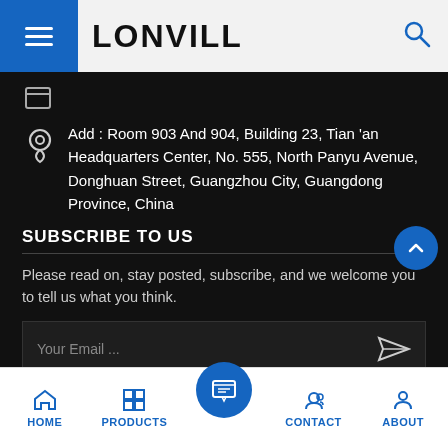LONVILL
Add : Room 903 And 904, Building 23, Tian 'an Headquarters Center, No. 555, North Panyu Avenue, Donghuan Street, Guangzhou City, Guangdong Province, China
SUBSCRIBE TO US
Please read on, stay posted, subscribe, and we welcome you to tell us what you think.
Your Email ...
HOME   PRODUCTS   CONTACT   ABOUT